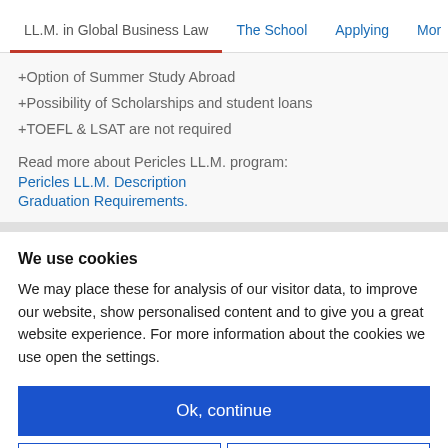LL.M. in Global Business Law | The School | Applying | More
+Option of Summer Study Abroad
+Possibility of Scholarships and student loans
+TOEFL & LSAT are not required
Read more about Pericles LL.M. program:
Pericles LL.M. Description
Graduation Requirements.
We use cookies
We may place these for analysis of our visitor data, to improve our website, show personalised content and to give you a great website experience. For more information about the cookies we use open the settings.
Ok, continue
Deny
No, adjust